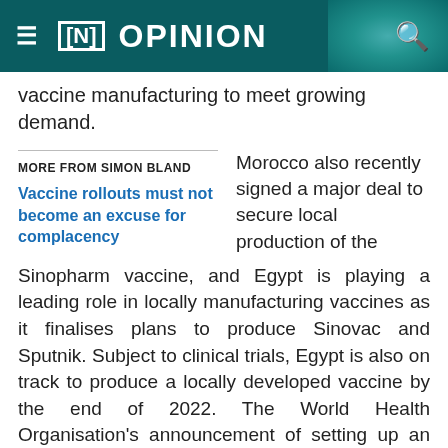≡ [N] OPINION
vaccine manufacturing to meet growing demand.
MORE FROM SIMON BLAND
Vaccine rollouts must not become an excuse for complacency
Morocco also recently signed a major deal to secure local production of the Sinopharm vaccine, and Egypt is playing a leading role in locally manufacturing vaccines as it finalises plans to produce Sinovac and Sputnik. Subject to clinical trials, Egypt is also on track to produce a locally developed vaccine by the end of 2022. The World Health Organisation's announcement of setting up an mRNA Covid-19 vaccine hub in South Africa is